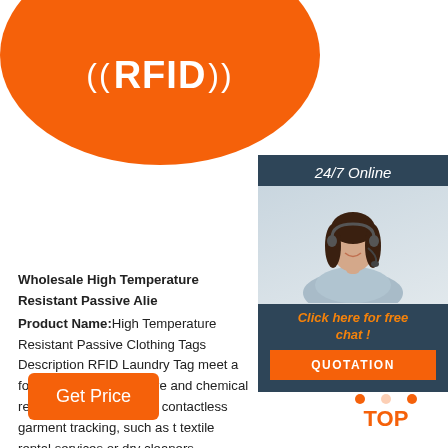[Figure (photo): Orange RFID disc/tag with white RFID logo and signal wave symbols]
[Figure (photo): 24/7 online customer service chat box with woman wearing headset, 'Click here for free chat!' text and orange QUOTATION button]
Wholesale High Temperature Resistant Passive Alie
Product Name:High Temperature Resistant Passive Clothing Tags Description RFID Laundry Tag meet a for temperature, pressure and chemical resistance i dealing with contactless garment tracking, such as t textile rental services or dry cleaners.
[Figure (other): Get Price orange button]
[Figure (other): TOP icon with orange dots forming triangle above orange TOP text]